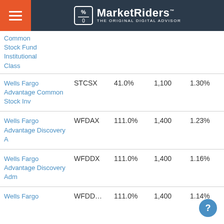MarketRiders - THE ORIGINAL DIGITAL ADVISOR
| Fund Name | Ticker | Expense | Min | Ratio |
| --- | --- | --- | --- | --- |
| Common Stock Fund Institutional Class |  |  |  |  |
| Wells Fargo Advantage Common Stock Inv | STCSX | 41.0% | 1,100 | 1.30% |
| Wells Fargo Advantage Discovery A | WFDAX | 111.0% | 1,400 | 1.23% |
| Wells Fargo Advantage Discovery Adm | WFDDX | 111.0% | 1,400 | 1.16% |
| Wells Fargo Advantage … | WFDD… | 111.0% | 1,400 | 1.14% |